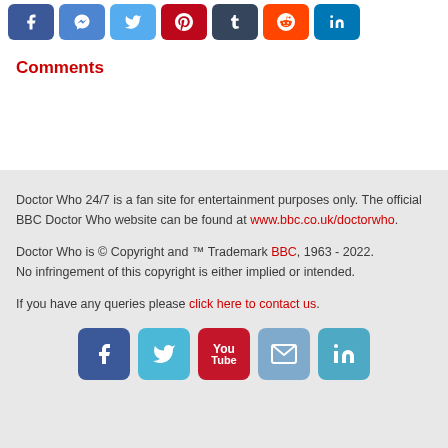[Figure (other): Row of social media share buttons: Facebook, Messenger, Twitter, Pinterest, Tumblr, Reddit, LinkedIn]
Comments
Doctor Who 24/7 is a fan site for entertainment purposes only. The official BBC Doctor Who website can be found at www.bbc.co.uk/doctorwho.
Doctor Who is © Copyright and ™ Trademark BBC, 1963 - 2022. No infringement of this copyright is either implied or intended.
If you have any queries please click here to contact us.
[Figure (other): Row of social media icons: Facebook, Twitter, YouTube, Email, LinkedIn]